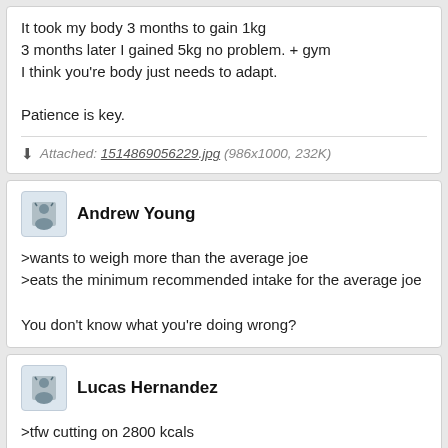It took my body 3 months to gain 1kg
3 months later I gained 5kg no problem. + gym
I think you're body just needs to adapt.

Patience is key.
Attached: 1514869056229.jpg (986x1000, 232K)
Andrew Young
>wants to weigh more than the average joe
>eats the minimum recommended intake for the average joe

You don't know what you're doing wrong?
Lucas Hernandez
>tfw cutting on 2800 kcals

Manlets, get off my board.